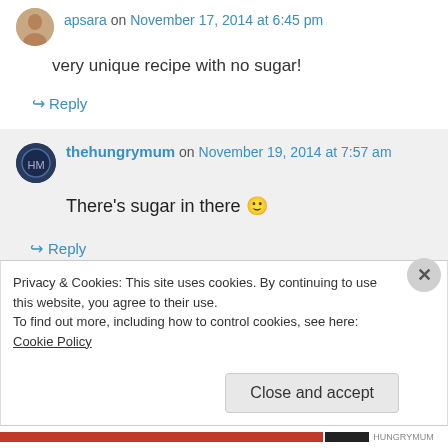apsara on November 17, 2014 at 6:45 pm
very unique recipe with no sugar!
↪ Reply
thehungrymum on November 19, 2014 at 7:57 am
There's sugar in there 🙂
↪ Reply
Privacy & Cookies: This site uses cookies. By continuing to use this website, you agree to their use. To find out more, including how to control cookies, see here: Cookie Policy
Close and accept